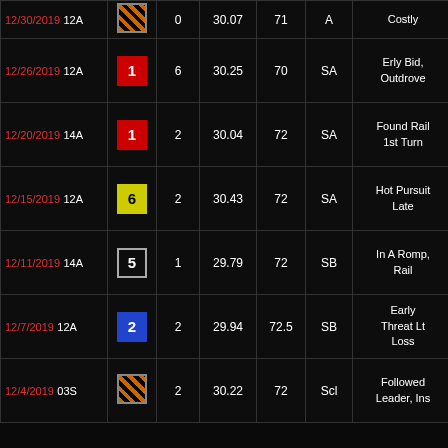| Date | PP | # | Time | Spd | Cls | Notes |
| --- | --- | --- | --- | --- | --- | --- |
| 12/30/2019 12A | stripe | 0 | 30.07 | 71 | A | Costly |
| 12/26/2019 12A | 1 red | 6 | 30.25 | 70 | SA | Erly Bid, Outdrove |
| 12/20/2019 14A | 1 red | 2 | 30.04 | 72 | SA | Found Rail 1st Turn |
| 12/15/2019 12A | 6 yellow | 2 | 30.43 | 72 | SA | Hot Pursuit Late |
| 12/11/2019 14A | 5 white | 1 | 29.79 | 72 | SB | In A Romp, Rail |
| 12/7/2019 12A | 2 blue | 2 | 29.94 | 72.5 | SB | Early Threat Lt Loss |
| 12/4/2019 03S | stripe | 2 | 30.22 | 72 | Scl | Followed Leader, Ins |